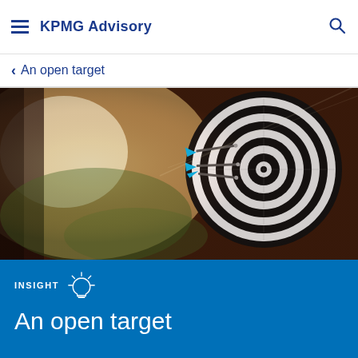KPMG Advisory
An open target
[Figure (photo): Three blue darts hitting the bullseye of a black and white dartboard, with warm sunlight bokeh in the background]
INSIGHT
An open target